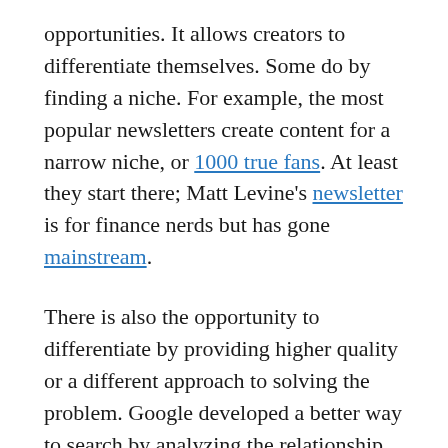opportunities. It allows creators to differentiate themselves. Some do by finding a niche. For example, the most popular newsletters create content for a narrow niche, or 1000 true fans. At least they start there; Matt Levine's newsletter is for finance nerds but has gone mainstream.
There is also the opportunity to differentiate by providing higher quality or a different approach to solving the problem. Google developed a better way to search by analyzing the relationship between websites. Facebook took advantage of network density and engagement in US college campuses.